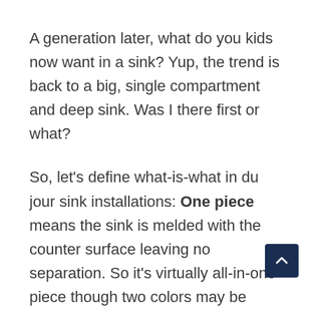A generation later, what do you kids now want in a sink? Yup, the trend is back to a big, single compartment and deep sink. Was I there first or what?
So, let's define what-is-what in du jour sink installations: One piece means the sink is melded with the counter surface leaving no separation. So it's virtually all-in-one piece though two colors may be used. It's usually in a solid surface material (Corian). Under-mount means the sink is adhered to the underside of the counter surface. Usually under-mount involves a stainless basin and the counter is another material, but not always. Drop